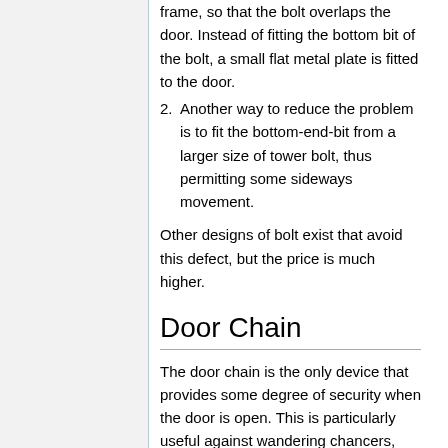frame, so that the bolt overlaps the door. Instead of fitting the bottom bit of the bolt, a small flat metal plate is fitted to the door.
2. Another way to reduce the problem is to fit the bottom-end-bit from a larger size of tower bolt, thus permitting some sideways movement.
Other designs of bolt exist that avoid this defect, but the price is much higher.
Door Chain
The door chain is the only device that provides some degree of security when the door is open. This is particularly useful against wandering chancers, assault, and to a limited extent distraction burglaries. It also lets people